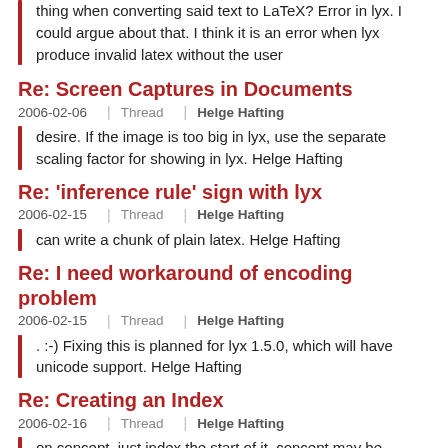thing when converting said text to LaTeX? Error in lyx. I could argue about that. I think it is an error when lyx produce invalid latex without the user
Re: Screen Captures in Documents
2006-02-06  |  Thread  |  Helge Hafting
desire. If the image is too big in lyx, use the separate scaling factor for showing in lyx. Helge Hafting
Re: 'inference rule' sign with lyx
2006-02-15  |  Thread  |  Helge Hafting
can write a chunk of plain latex. Helge Hafting
Re: I need workaround of encoding problem
2006-02-15  |  Thread  |  Helge Hafting
. :-) Fixing this is planned for lyx 1.5.0, which will have unicode support. Helge Hafting
Re: Creating an Index
2006-02-16  |  Thread  |  Helge Hafting
on concept, just index the start of it. concept may be mentioned several times in that text over several pages - indexing all of it is too much, so one entry. People will go to the